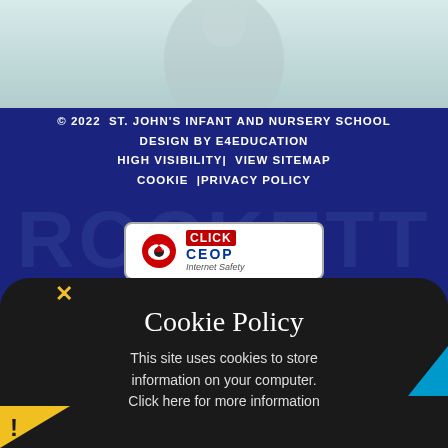[Figure (screenshot): Top portion of school website showing a faded teal/gray background with a student silhouette]
© 2022  ST. JOHN'S INFANT AND NURSERY SCHOOL
DESIGN BY E4EDUCATION
HIGH VISIBILITY|  VIEW SITEMAP
COOKIE  |PRIVACY POLICY
[Figure (logo): CLICK CEOP Internet Safety button with red eye logo on white rounded rectangle background]
Cookie Policy
This site uses cookies to store information on your computer. Click here for more information
Allow Cookies
Deny Cookies